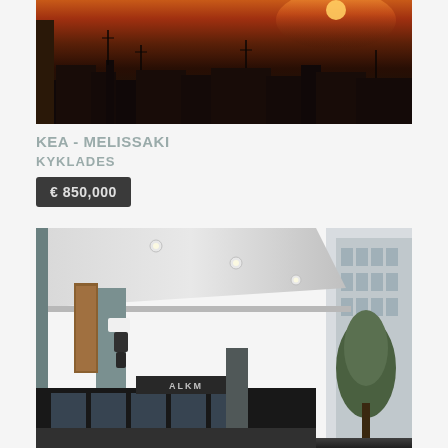[Figure (photo): Sunset photo showing rooftops and silhouetted structures against an orange-red sky]
KEA - MELISSAKI
KYKLADES
€ 850,000
[Figure (photo): Building exterior showing a covered walkway/corridor with recessed ceiling lights, a wall-mounted light fixture on a grey pillar, glass storefronts, and a tree visible on the right side]